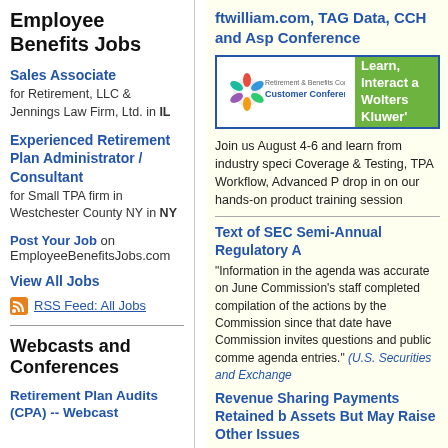Employee Benefits Jobs
Sales Associate for Retirement, LLC & Jennings Law Firm, Ltd. in IL
Experienced Retirement Plan Administrator / Consultant for Small TPA firm in Westchester County NY in NY
Post Your Job on EmployeeBenefitsJobs.com
View All Jobs
RSS Feed: All Jobs
Webcasts and Conferences
Retirement Plan Audits (CPA) -- Webcast
ftwilliam.com, TAG Data, CCH and Asp Conference
[Figure (logo): Retirement & Benefits Compliance Customer Conference logo with Learn, Interact and Wolters Kluwer's banner]
Join us August 4-6 and learn from industry speci Coverage & Testing, TPA Workflow, Advanced P drop in on our hands-on product training session
Text of SEC Semi-Annual Regulatory A
"Information in the agenda was accurate on June Commission's staff completed compilation of the actions by the Commission since that date have Commission invites questions and public comme agenda entries." (U.S. Securities and Exchange
Revenue Sharing Payments Retained b Assets But May Raise Other Issues
"To the extent that the...